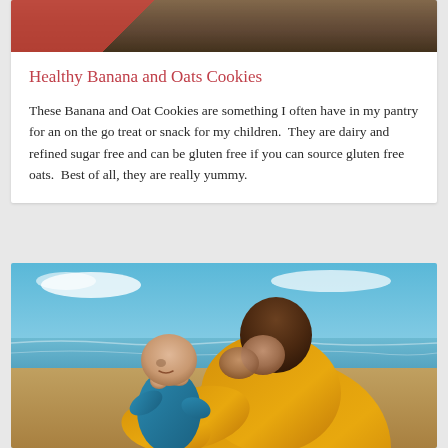[Figure (photo): Top portion of a food blog card showing a partial image of cookies or baked goods at the top]
Healthy Banana and Oats Cookies
These Banana and Oat Cookies are something I often have in my pantry for an on the go treat or snack for my children.  They are dairy and refined sugar free and can be gluten free if you can source gluten free oats.  Best of all, they are really yummy.
[Figure (photo): Photo of a woman in a yellow sweater holding a baby in a teal outfit, standing on a beach with blue sky and ocean in background]